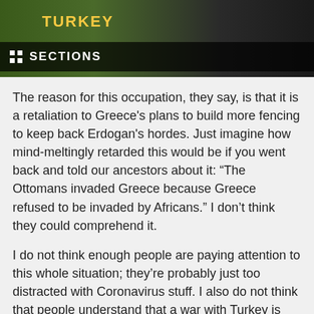[Figure (photo): Header image showing a dark background with 'TURKEY' text in yellow and a graphical overlay, with a 'SECTIONS' navigation bar at the bottom of the image area.]
The reason for this occupation, they say, is that it is a retaliation to Greece's plans to build more fencing to keep back Erdogan's hordes. Just imagine how mind-meltingly retarded this would be if you went back and told our ancestors about it: “The Ottomans invaded Greece because Greece refused to be invaded by Africans.” I don’t think they could comprehend it.
I do not think enough people are paying attention to this whole situation; they’re probably just too distracted with Coronavirus stuff. I also do not think that people understand that a war with Turkey is essentially inevitable at this point and that it will affect them greatly. Actually, avoiding a war with Turkey at this point is the least-desirable option, because the only